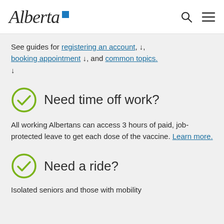Alberta (logo)
See guides for registering an account, ↓, booking appointment ↓, and common topics. ↓
Need time off work?
All working Albertans can access 3 hours of paid, job-protected leave to get each dose of the vaccine. Learn more.
Need a ride?
Isolated seniors and those with mobility